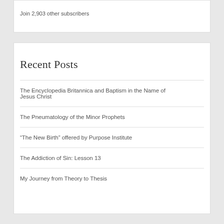Join 2,903 other subscribers
Recent Posts
The Encyclopedia Britannica and Baptism in the Name of Jesus Christ
The Pneumatology of the Minor Prophets
“The New Birth” offered by Purpose Institute
The Addiction of Sin: Lesson 13
My Journey from Theory to Thesis